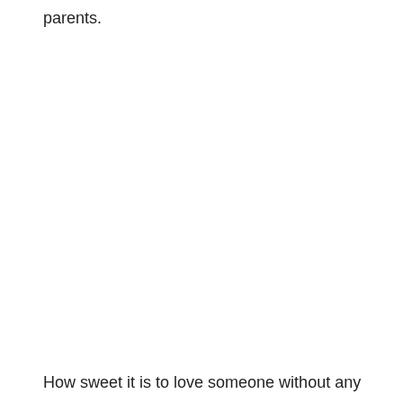parents.
How sweet it is to love someone without any